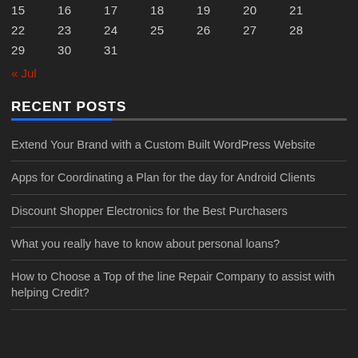| 15 | 16 | 17 | 18 | 19 | 20 | 21 |
| 22 | 23 | 24 | 25 | 26 | 27 | 28 |
| 29 | 30 | 31 |  |  |  |  |
« Jul
RECENT POSTS
Extend Your Brand with a Custom Built WordPress Website
Apps for Coordinating a Plan for the day for Android Clients
Discount Shopper Electronics for the Best Purchasers
What you really have to know about personal loans?
How to Choose a Top of the line Repair Company to assist with helping Credit?